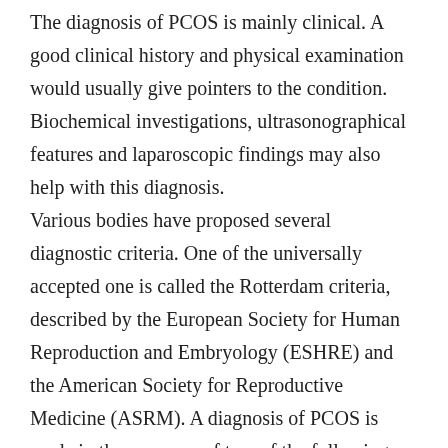The diagnosis of PCOS is mainly clinical. A good clinical history and physical examination would usually give pointers to the condition. Biochemical investigations, ultrasonographical features and laparoscopic findings may also help with this diagnosis. Various bodies have proposed several diagnostic criteria. One of the universally accepted one is called the Rotterdam criteria, described by the European Society for Human Reproduction and Embryology (ESHRE) and the American Society for Reproductive Medicine (ASRM). A diagnosis of PCOS is made in the presence of two of the following three criteria. Oligo-ovulation or anovulation manifested as oligomenorrhoea or amenorrhoea.